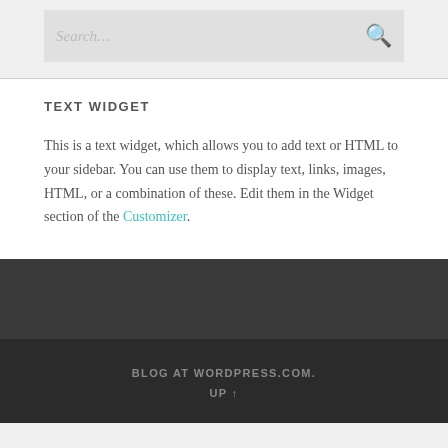[Figure (screenshot): Search input box with placeholder text 'Search...' and a search icon on the right, on a light gray background]
TEXT WIDGET
This is a text widget, which allows you to add text or HTML to your sidebar. You can use them to display text, links, images, HTML, or a combination of these. Edit them in the Widget section of the Customizer.
BLOG AT WORDPRESS.COM.
UP ↑